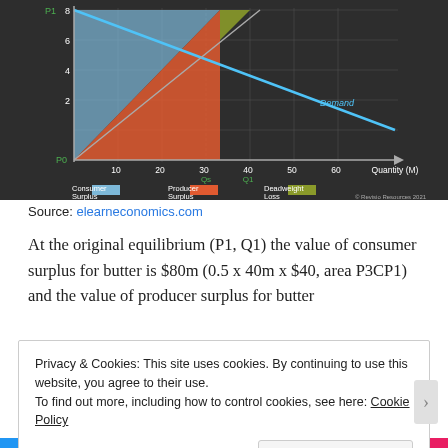[Figure (other): Economics supply and demand diagram showing consumer surplus (blue), producer surplus (orange/red), and deadweight loss (olive/green) areas. Y-axis labeled P1=8, with gridlines at 2,4,6,8. X-axis labeled Quantity (M) with values 10,20,30,40,50,60. Qs and Q1 marked in green. Demand line in blue going downward. Legend shows Consumer Surplus (blue), Producer Surplus (orange), Deadweight Loss (olive). Copyright Revisio Resources 2021.]
Source: elearneconomics.com
At the original equilibrium (P1, Q1) the value of consumer surplus for butter is $80m (0.5 x 40m x $40, area P3CP1) and the value of producer surplus for butter
Privacy & Cookies: This site uses cookies. By continuing to use this website, you agree to their use.
To find out more, including how to control cookies, see here: Cookie Policy
Close and accept